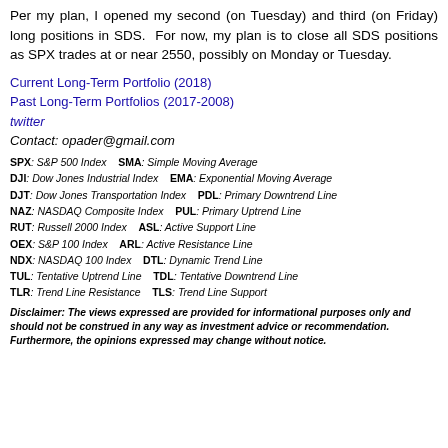Per my plan, I opened my second (on Tuesday) and third (on Friday) long positions in SDS. For now, my plan is to close all SDS positions as SPX trades at or near 2550, possibly on Monday or Tuesday.
Current Long-Term Portfolio (2018)
Past Long-Term Portfolios (2017-2008)
twitter
Contact: opader@gmail.com
SPX: S&P 500 Index   SMA: Simple Moving Average
DJI: Dow Jones Industrial Index   EMA: Exponential Moving Average
DJT: Dow Jones Transportation Index   PDL: Primary Downtrend Line
NAZ: NASDAQ Composite Index   PUL: Primary Uptrend Line
RUT: Russell 2000 Index   ASL: Active Support Line
OEX: S&P 100 Index   ARL: Active Resistance Line
NDX: NASDAQ 100 Index   DTL: Dynamic Trend Line
TUL: Tentative Uptrend Line   TDL: Tentative Downtrend Line
TLR: Trend Line Resistance   TLS: Trend Line Support
Disclaimer: The views expressed are provided for informational purposes only and should not be construed in any way as investment advice or recommendation. Furthermore, the opinions expressed may change without notice.